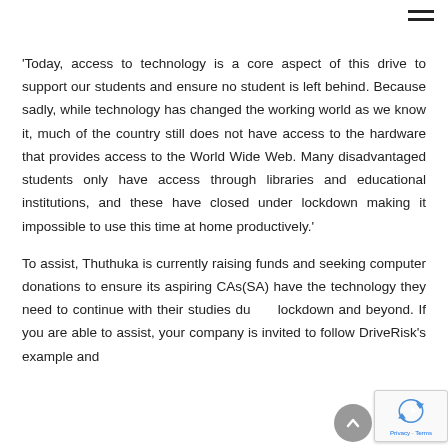≡
'Today, access to technology is a core aspect of this drive to support our students and ensure no student is left behind. Because sadly, while technology has changed the working world as we know it, much of the country still does not have access to the hardware that provides access to the World Wide Web. Many disadvantaged students only have access through libraries and educational institutions, and these have closed under lockdown making it impossible to use this time at home productively.'
To assist, Thuthuka is currently raising funds and seeking computer donations to ensure its aspiring CAs(SA) have the technology they need to continue with their studies during lockdown and beyond. If you are able to assist, your company is invited to follow DriveRisk's example and…